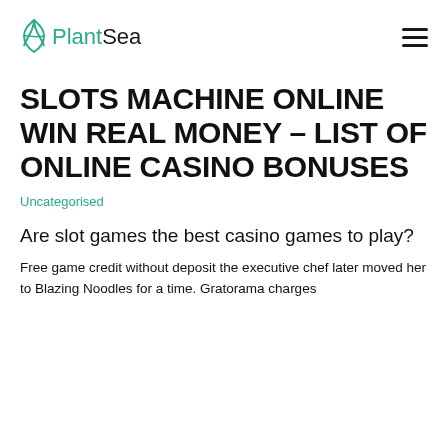PlantSea
SLOTS MACHINE ONLINE WIN REAL MONEY – LIST OF ONLINE CASINO BONUSES
Uncategorised
Are slot games the best casino games to play?
Free game credit without deposit the executive chef later moved her to Blazing Noodles for a time. Gratorama charges